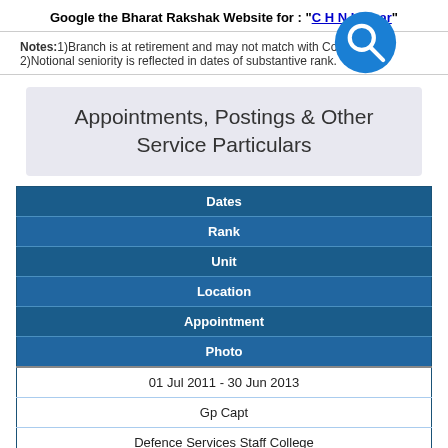Google the Bharat Rakshak Website for : "C H N Kumar"
Notes:1)Branch is at retirement and may not match with Commission 2)Notional seniority is reflected in dates of substantive rank.
Appointments, Postings & Other Service Particulars
| Dates | Rank | Unit | Location | Appointment | Photo |
| --- | --- | --- | --- | --- | --- |
| 01 Jul 2011 - 30 Jun 2013 |
| Gp Capt |
| Defence Services Staff College |